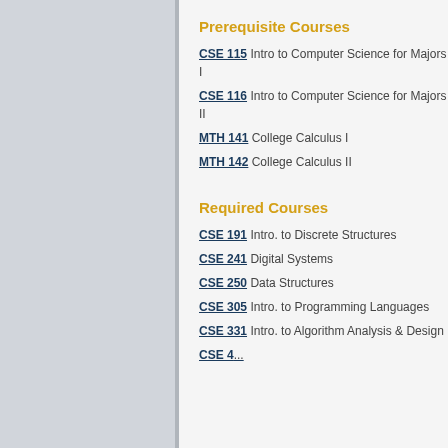Prerequisite Courses
CSE 115 Intro to Computer Science for Majors I
CSE 116 Intro to Computer Science for Majors II
MTH 141 College Calculus I
MTH 142 College Calculus II
Required Courses
CSE 191 Intro. to Discrete Structures
CSE 241 Digital Systems
CSE 250 Data Structures
CSE 305 Intro. to Programming Languages
CSE 331 Intro. to Algorithm Analysis & Design
CSE 4...